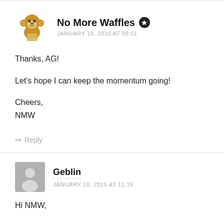[Figure (illustration): Monkey avatar icon for user No More Waffles]
No More Waffles ★
JANUARY 18, 2015 AT 09:51
Thanks, AG!

Let's hope I can keep the momentum going!

Cheers,
NMW
↪ Reply
[Figure (illustration): Generic person avatar (grey silhouette) for user Geblin]
Geblin
JANUARY 18, 2015 AT 11:15
Hi NMW,